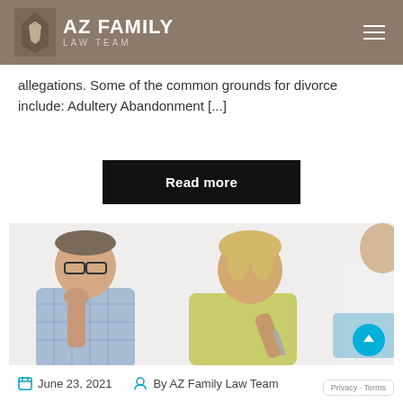AZ FAMILY LAW TEAM
allegations. Some of the common grounds for divorce include: Adultery Abandonment [...]
Read more
[Figure (photo): A middle-aged couple sitting with a professional (partially visible on right), looking concerned. The man wears glasses and a blue checked shirt, the woman wears a yellow top. The professional appears to be holding a pen and clipboard.]
June 23, 2021   By AZ Family Law Team